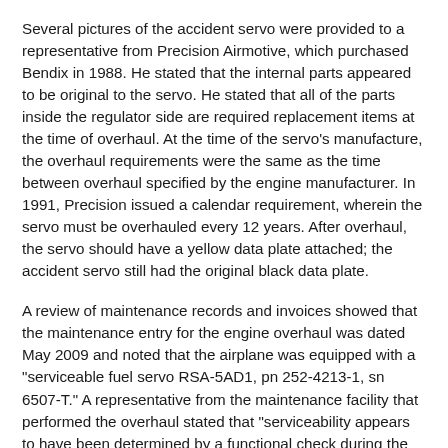Several pictures of the accident servo were provided to a representative from Precision Airmotive, which purchased Bendix in 1988. He stated that the internal parts appeared to be original to the servo. He stated that all of the parts inside the regulator side are required replacement items at the time of overhaul. At the time of the servo's manufacture, the overhaul requirements were the same as the time between overhaul specified by the engine manufacturer. In 1991, Precision issued a calendar requirement, wherein the servo must be overhauled every 12 years. After overhaul, the servo should have a yellow data plate attached; the accident servo still had the original black data plate.
A review of maintenance records and invoices showed that the maintenance entry for the engine overhaul was dated May 2009 and noted that the airplane was equipped with a "serviceable fuel servo RSA-5AD1, pn 252-4213-1, sn 6507-T." A representative from the maintenance facility that performed the overhaul stated that "serviceability appears to have been determined by a functional check during the test run of the complete engine." There were no other maintenance records found regarding the servo. Because